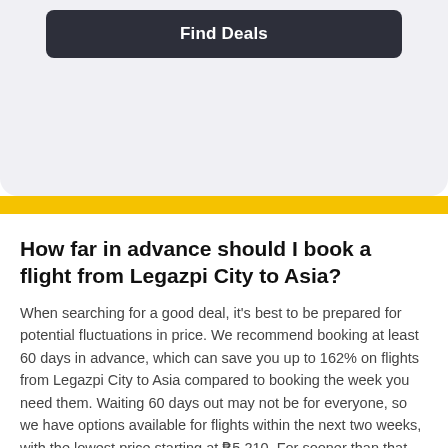[Figure (screenshot): Dark button with white bold text 'Find Deals' on a light gray rounded card background]
How far in advance should I book a flight from Legazpi City to Asia?
When searching for a good deal, it's best to be prepared for potential fluctuations in price. We recommend booking at least 60 days in advance, which can save you up to 162% on flights from Legazpi City to Asia compared to booking the week you need them. Waiting 60 days out may not be for everyone, so we have options available for flights within the next two weeks, with the lowest price starting at ₱5,210. For sooner than that we have options available in the next 3 days from ₱7,002.